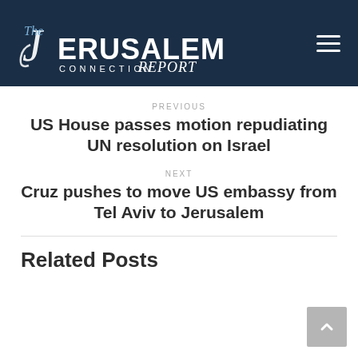The Jerusalem Connection Report
PREVIOUS
US House passes motion repudiating UN resolution on Israel
NEXT
Cruz pushes to move US embassy from Tel Aviv to Jerusalem
Related Posts